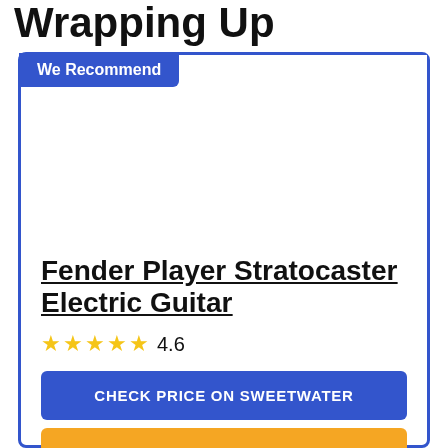Wrapping Up
We Recommend
[Figure (photo): Product image area for Fender Player Stratocaster Electric Guitar (white/empty area)]
Fender Player Stratocaster Electric Guitar
★★★★½ 4.6
CHECK PRICE ON SWEETWATER
CHECK PRICE ON AMAZON